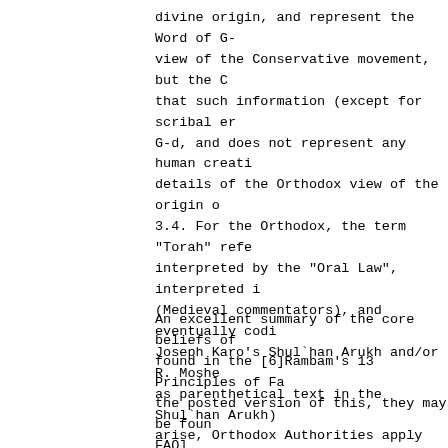divine origin, and represent the Word of G-d's view of the Conservative movement, but the O that such information (except for scribal er G-d, and does not represent any human creati details of the Orthodox view of the origin o 3.4. For the Orthodox, the term "Torah" refe interpreted by the "Oral Law", interpreted i (Medieval commentators), and eventually codi Joseph Karo's Shul`han Arukh and/or R. Moshe as parenthetical text in the Shul`han Arukh) arise, Orthodox Authorities apply the Halach legal reasoning and interpretation described the Torah (both Oral and Written) to determi accordance with G-d's will as directed by th Orthodoxy evolves to meet the demands of the
An excellent summary of the core beliefs of found in the [6]Rambam's 13 Principles of Fa the posted version of this, they may be foun FAQ]